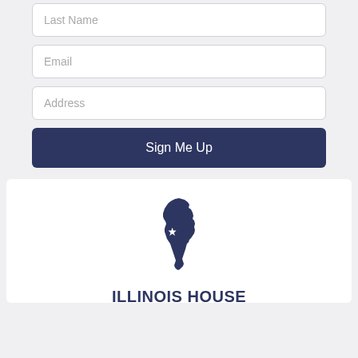Last Name
Email
Address
Sign Me Up
[Figure (illustration): Silhouette map of the state of Illinois in dark navy blue with a white star marking a city (Springfield), above the text ILLINOIS HOUSE REPUBLICANS]
ILLINOIS HOUSE REPUBLICANS